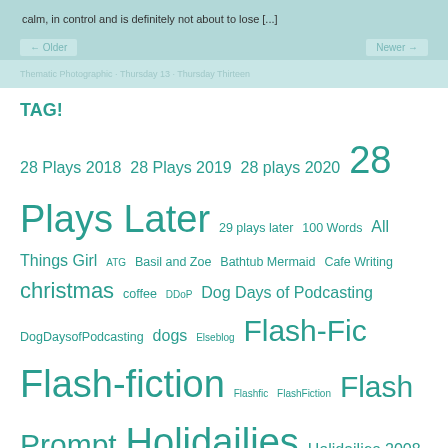calm, in control and is definitely not about to lose [...]
TAG!
28 Plays 2018 28 Plays 2019 28 plays 2020 28 Plays Later 29 plays later 100 Words All Things Girl ATG Basil and Zoe Bathtub Mermaid Cafe Writing christmas coffee DDoP Dog Days of Podcasting DogDaysofPodcasting dogs Elseblog Flash-Fic Flash-fiction Flashfic FlashFiction Flash Prompt Holidailies Holidailies 2008 Holidailies 2013 Holidailies 2014 Holidailies 2015 Holidailies 2019 HorrorDailies Life With Dogs Like The Prose Like The Prose 2019 lists meme music nostalgia Poetry summer Sunday Brunch Thematic Photographic Thursday 13 Thursday Thirteen weather writing